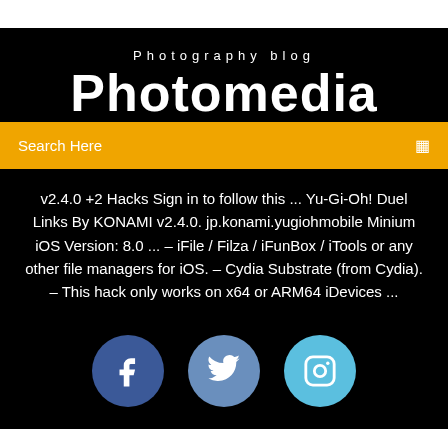Photography blog
Photomedia
Search Here
v2.4.0 +2 Hacks Sign in to follow this ... Yu-Gi-Oh! Duel Links By KONAMI v2.4.0. jp.konami.yugiohmobile Minium iOS Version: 8.0 ... – iFile / Filza / iFunBox / iTools or any other file managers for iOS. – Cydia Substrate (from Cydia). – This hack only works on x64 or ARM64 iDevices ...
[Figure (infographic): Three social media icons in circles: Facebook (dark blue), Twitter (medium blue), Instagram (light blue)]